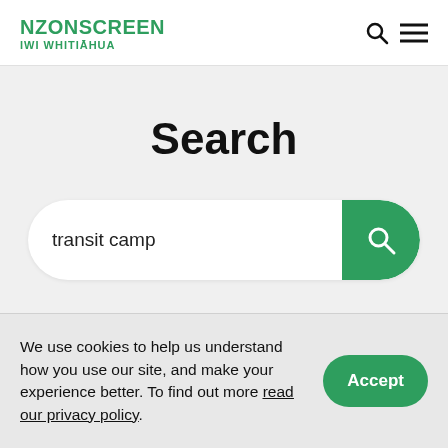NZONSCREEN IWI WHITIĀHUA
Search
transit camp
We use cookies to help us understand how you use our site, and make your experience better. To find out more read our privacy policy.